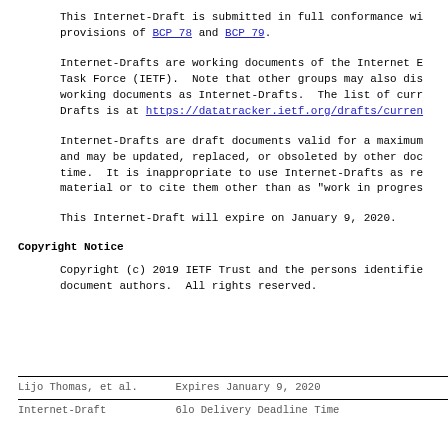This Internet-Draft is submitted in full conformance with the provisions of BCP 78 and BCP 79.
Internet-Drafts are working documents of the Internet Engineering Task Force (IETF). Note that other groups may also distribute working documents as Internet-Drafts. The list of current Internet-Drafts is at https://datatracker.ietf.org/drafts/current/.
Internet-Drafts are draft documents valid for a maximum of six months and may be updated, replaced, or obsoleted by other documents at any time. It is inappropriate to use Internet-Drafts as reference material or to cite them other than as "work in progress".
This Internet-Draft will expire on January 9, 2020.
Copyright Notice
Copyright (c) 2019 IETF Trust and the persons identified as the document authors. All rights reserved.
Lijo Thomas, et al.        Expires January 9, 2020
Internet-Draft             6lo Delivery Deadline Time